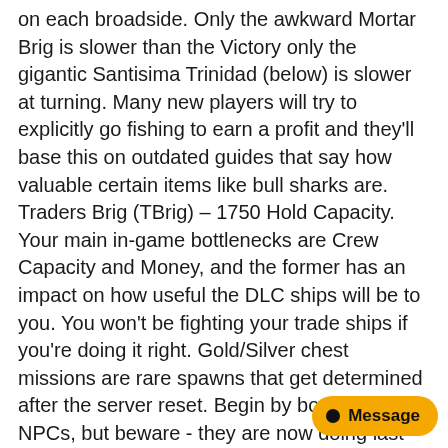on each broadside. Only the awkward Mortar Brig is slower than the Victory only the gigantic Santisima Trinidad (below) is slower at turning. Many new players will try to explicitly go fishing to earn a profit and they'll base this on outdated guides that say how valuable certain items like bull sharks are. Traders Brig (TBrig) – 1750 Hold Capacity. Your main in-game bottlenecks are Crew Capacity and Money, and the former has an impact on how useful the DLC ships will be to you. You won't be fighting your trade ships if you're doing it right. Gold/Silver chest missions are rare spawns that get determined after the server reset. Begin by boarding NPCs, but beware - they are now doing last minute switches as well, although usually only in response to your own actions. There are three categories of guns: Carronades, Medium Guns, and Long Guns - the descriptions are detailed below. When sailing a ship with multiple gun decks you can turn them on/off